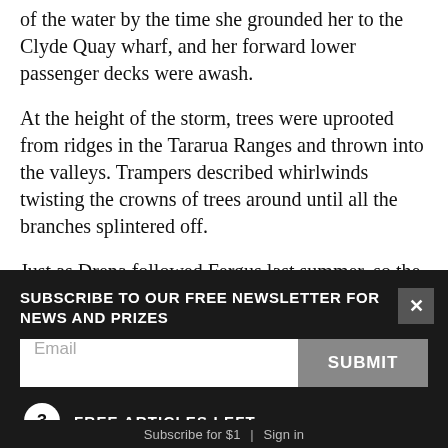of the water by the time she grounded her to the Clyde Quay wharf, and her forward lower passenger decks were awash.
At the height of the storm, trees were uprooted from ridges in the Tararua Ranges and thrown into the valleys. Trampers described whirlwinds twisting the crowns of trees around until all the branches splintered off.
Just as Drena followed Fergus last summer, so the great storm of February 1936 was followed by another
SUBSCRIBE TO OUR FREE NEWSLETTER FOR NEWS AND PRIZES
3 FREE ARTICLES LEFT
Subscribe for $1 | Sign in